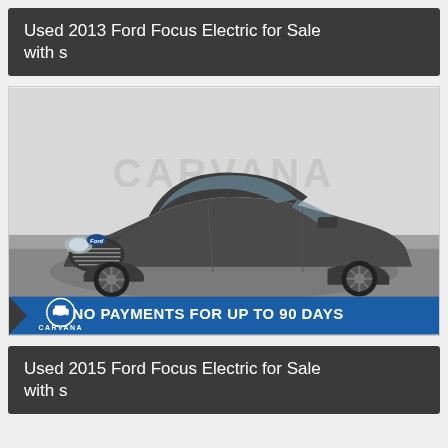Used 2013 Ford Focus Electric for Sale with s
[Figure (photo): Photo of a dark gray 2013 Ford Focus Electric sedan on a studio floor with a Carvana watermark. A blue banner at the bottom reads 'NO PAYMENTS FOR UP TO 90 DAYS' with the Carvana logo.]
Used 2015 Ford Focus Electric for Sale with s